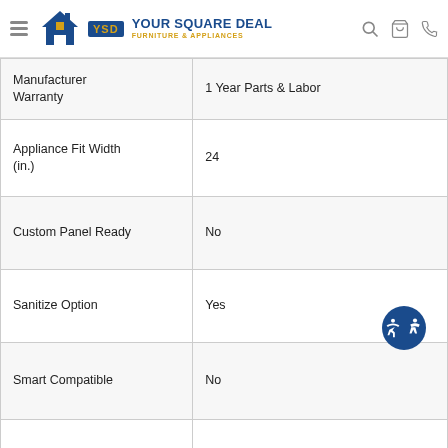Your Square Deal Furniture & Appliances
| Attribute | Value |
| --- | --- |
| Manufacturer Warranty | 1 Year Parts & Labor |
| Appliance Fit Width (in.) | 24 |
| Custom Panel Ready | No |
| Sanitize Option | Yes |
| Smart Compatible | No |
| Color Finish Name | Fingerprint Resistant Stainless Steel |